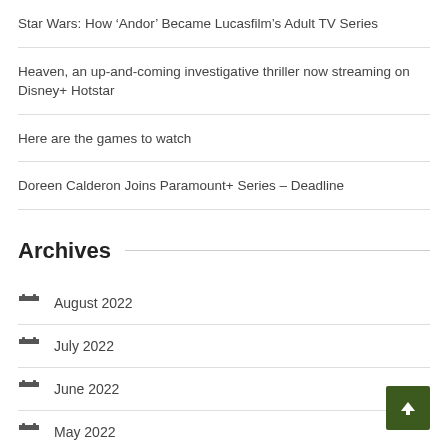Star Wars: How ‘Andor’ Became Lucasfilm’s Adult TV Series
Heaven, an up-and-coming investigative thriller now streaming on Disney+ Hotstar
Here are the games to watch
Doreen Calderon Joins Paramount+ Series – Deadline
Archives
August 2022
July 2022
June 2022
May 2022
April 2022